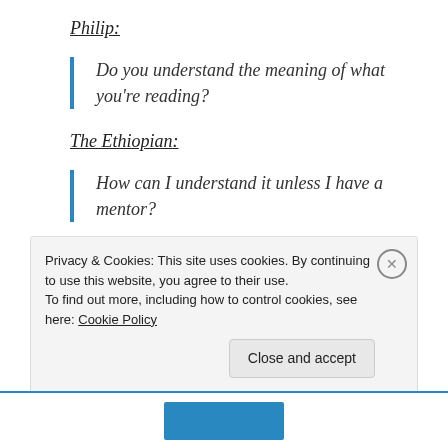Philip:
Do you understand the meaning of what you're reading?
The Ethiopian:
How can I understand it unless I have a mentor?
Then he invited Philip to sit in the chariot. Here's the
Privacy & Cookies: This site uses cookies. By continuing to use this website, you agree to their use. To find out more, including how to control cookies, see here: Cookie Policy
Close and accept